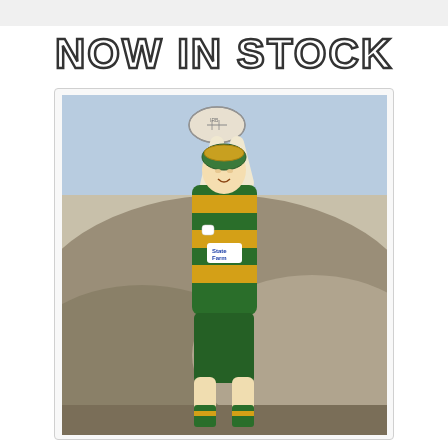NOW IN STOCK
[Figure (photo): Rugby player in green and gold hooped jersey with a scrum cap, catching or throwing a rugby ball with both hands raised above head, set against a rocky hillside background outdoors. The player's jersey has a sponsor logo on the chest.]